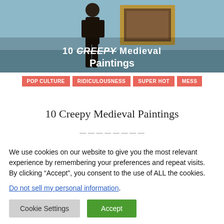[Figure (photo): Hero image of a person standing in an art gallery in front of a framed painting. Overlaid text reads '10 CREEPY Medieval Paintings'.]
POP CULTURE
RIDICULOUSNESS
SUPER HOT
MESS
10 Creepy Medieval Paintings
We use cookies on our website to give you the most relevant experience by remembering your preferences and repeat visits. By clicking “Accept”, you consent to the use of ALL the cookies.
Do not sell my personal information.
Cookie Settings
Accept